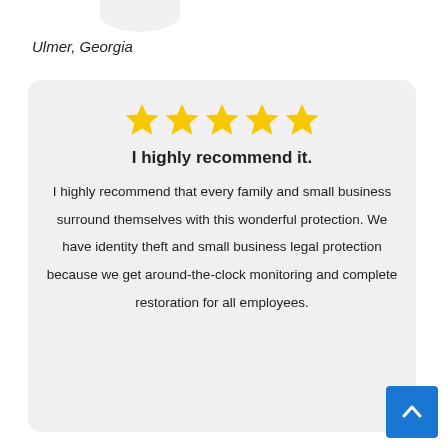Ulmer, Georgia
[Figure (illustration): Speech bubble tail at top of page]
I highly recommend it.
I highly recommend that every family and small business surround themselves with this wonderful protection. We have identity theft and small business legal protection because we get around-the-clock monitoring and complete restoration for all employees.